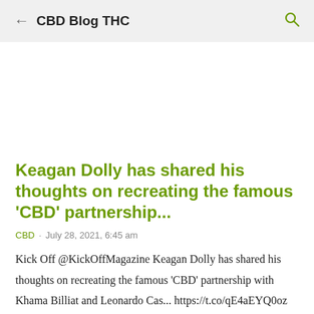CBD Blog THC
Keagan Dolly has shared his thoughts on recreating the famous 'CBD' partnership...
CBD · July 28, 2021, 6:45 am
Kick Off @KickOffMagazine Keagan Dolly has shared his thoughts on recreating the famous 'CBD' partnership with Khama Billiat and Leonardo Cas... https://t.co/qE4aEYQ0oz